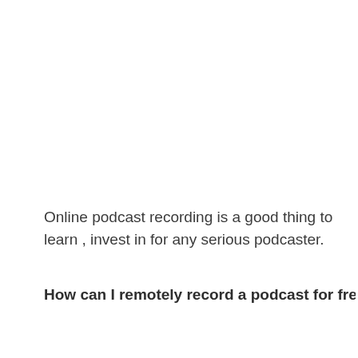Online podcast recording is a good thing to learn , invest in for any serious podcaster.
How can I remotely record a podcast for free?